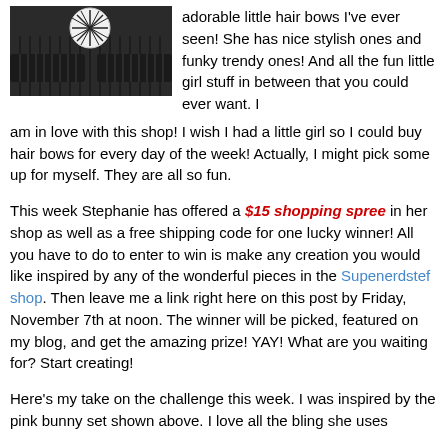[Figure (photo): Photo of black and white hair bow/clip accessories on a dark background]
adorable little hair bows I've ever seen! She has nice stylish ones and funky trendy ones! And all the fun little girl stuff in between that you could ever want. I am in love with this shop! I wish I had a little girl so I could buy hair bows for every day of the week! Actually, I might pick some up for myself. They are all so fun.
This week Stephanie has offered a $15 shopping spree in her shop as well as a free shipping code for one lucky winner! All you have to do to enter to win is make any creation you would like inspired by any of the wonderful pieces in the Supenerdstef shop. Then leave me a link right here on this post by Friday, November 7th at noon. The winner will be picked, featured on my blog, and get the amazing prize! YAY! What are you waiting for? Start creating!
Here's my take on the challenge this week. I was inspired by the pink bunny set shown above. I love all the bling she uses